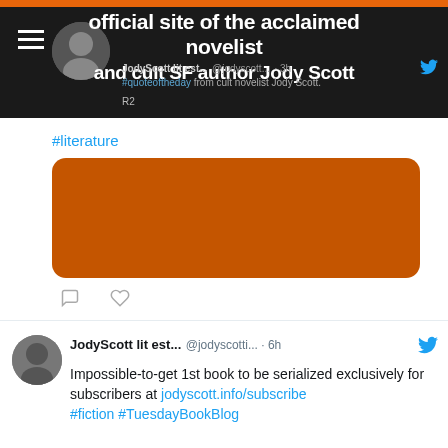official site of the acclaimed novelist and cult SF author Jody Scott
JodyScott lit est... @jodyscott... 3h
#quoteoftheday from cult novelist Jody Scott. R2
#literature
[Figure (photo): Orange/brown colored image placeholder with rounded corners]
JodyScott lit est... @jodyscotti... · 6h
Impossible-to-get 1st book to be serialized exclusively for subscribers at jodyscott.info/subscribe #fiction #TuesdayBookBlog